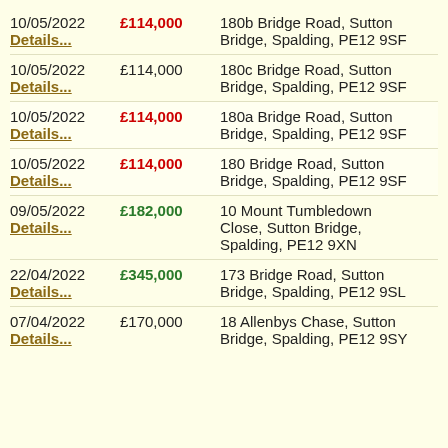| Date | Price | Address |
| --- | --- | --- |
| 10/05/2022 | £114,000 | 180b Bridge Road, Sutton Bridge, Spalding, PE12 9SF |
| 10/05/2022 | £114,000 | 180c Bridge Road, Sutton Bridge, Spalding, PE12 9SF |
| 10/05/2022 | £114,000 | 180a Bridge Road, Sutton Bridge, Spalding, PE12 9SF |
| 10/05/2022 | £114,000 | 180 Bridge Road, Sutton Bridge, Spalding, PE12 9SF |
| 09/05/2022 | £182,000 | 10 Mount Tumbledown Close, Sutton Bridge, Spalding, PE12 9XN |
| 22/04/2022 | £345,000 | 173 Bridge Road, Sutton Bridge, Spalding, PE12 9SL |
| 07/04/2022 | £170,000 | 18 Allenbys Chase, Sutton Bridge, Spalding, PE12 9SY |